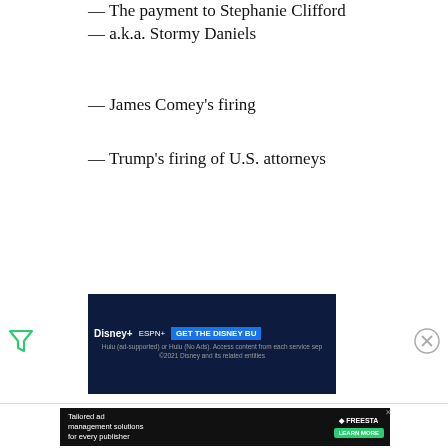— The payment to Stephanie Clifford — a.k.a. Stormy Daniels
— James Comey's firing
— Trump's firing of U.S. attorneys
[Figure (other): Disney+ and ESPN+ advertisement banner: GET THE DISNEY BU[NDLE]. Hulu (ad-supported) or Hulu (No Ads). Access content from each service sep... ©2021 Disney and its related entities]
[Figure (other): Freestar filter icon on left side]
[Figure (other): Close (X) icon on right side]
[Figure (other): Freestar ad: Tailored ad management solutions for every publisher. LEARN MORE button.]